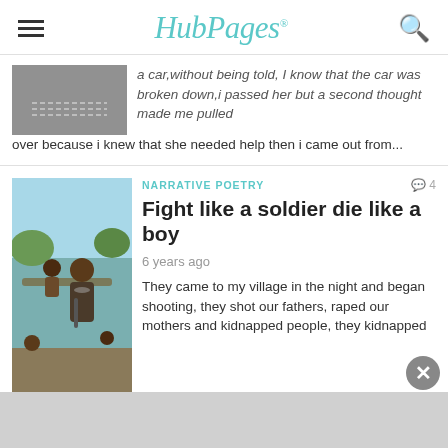HubPages
a car,without being told, I know that the car was broken down,i passed her but a second thought made me pulled over because i knew that she needed help then i came out from...
NARRATIVE POETRY
Fight like a soldier die like a boy
6 years ago
They came to my village in the night and began shooting, they shot our fathers, raped our mothers and kidnapped people, they kidnapped women, girls and young boys and i was among those kidnapped. They forced us to carry riffles and gave us hard...
ICONS